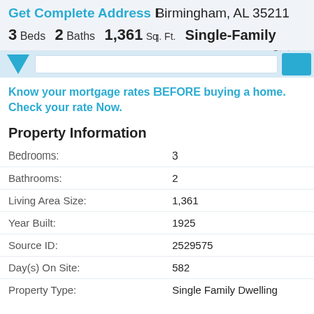Get Complete Address Birmingham, AL 35211
3 Beds  2 Baths  1,361 Sq. Ft.  Single-Family  Status:
[Figure (screenshot): Map/search bar UI strip with blue pointer icon, search input, and blue button]
Know your mortgage rates BEFORE buying a home. Check your rate Now.
Property Information
| Field | Value |
| --- | --- |
| Bedrooms: | 3 |
| Bathrooms: | 2 |
| Living Area Size: | 1,361 |
| Year Built: | 1925 |
| Source ID: | 2529575 |
| Day(s) On Site: | 582 |
| Property Type: | Single Family Dwelling |